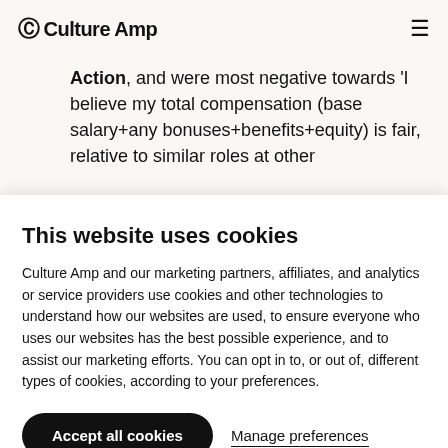Culture Amp
Action, and were most negative towards 'I believe my total compensation (base salary+any bonuses+benefits+equity) is fair, relative to similar roles at other
This website uses cookies
Culture Amp and our marketing partners, affiliates, and analytics or service providers use cookies and other technologies to understand how our websites are used, to ensure everyone who uses our websites has the best possible experience, and to assist our marketing efforts. You can opt in to, or out of, different types of cookies, according to your preferences.
Accept all cookies | Manage preferences